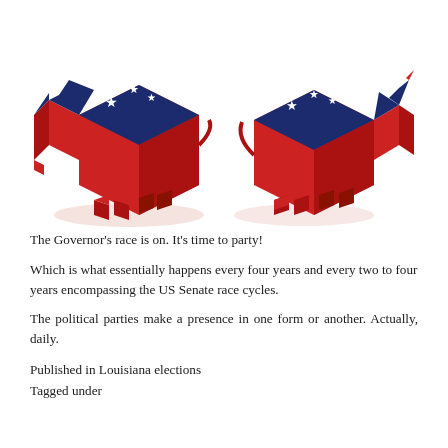[Figure (illustration): 3D isometric illustration of Republican elephant (red and dark blue with white stars) and Democratic donkey (dark blue and red with white stars) political party symbols side by side on white background with faint reflections below]
The Governor's race is on. It's time to party!
Which is what essentially happens every four years and every two to four years encompassing the US Senate race cycles.
The political parties make a presence in one form or another. Actually, daily.
Published in Louisiana elections
Tagged under